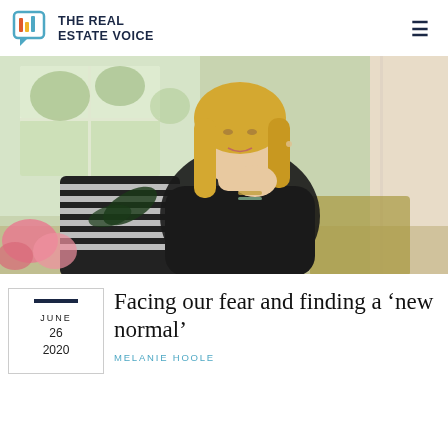THE REAL ESTATE VOICE
[Figure (photo): Professional photo of a blonde woman in a black top, seated and resting her chin on her hand, with decorative pillows and flowers in the background]
Facing our fear and finding a ‘new normal’
JUNE 26 2020
MELANIE HOOLE